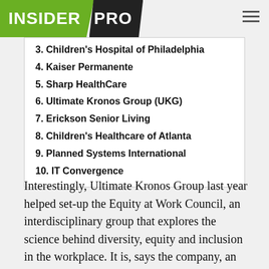INSIDER PRO
3. Children's Hospital of Philadelphia
4. Kaiser Permanente
5. Sharp HealthCare
6. Ultimate Kronos Group (UKG)
7. Erickson Senior Living
8. Children's Healthcare of Atlanta
9. Planned Systems International
10. IT Convergence
Interestingly, Ultimate Kronos Group last year helped set-up the Equity at Work Council, an interdisciplinary group that explores the science behind diversity, equity and inclusion in the workplace. It is, says the company, an attempt to find insights that can underpin actions, to drive what it says is a “focus on people”.